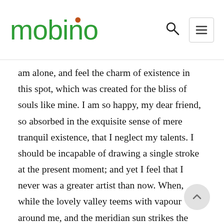mobino
am alone, and feel the charm of existence in this spot, which was created for the bliss of souls like mine. I am so happy, my dear friend, so absorbed in the exquisite sense of mere tranquil existence, that I neglect my talents. I should be incapable of drawing a single stroke at the present moment; and yet I feel that I never was a greater artist than now. When, while the lovely valley teems with vapour around me, and the meridian sun strikes the upper surface of the impenetrable foliage of my trees, and but a few stray gleams steal into the inner sanctuary, I throw myself down among the tall grass by the trickling stream; and as I lie close to the earth, a thousand unknown plants are noticed by me: when I hear the buzz of the little